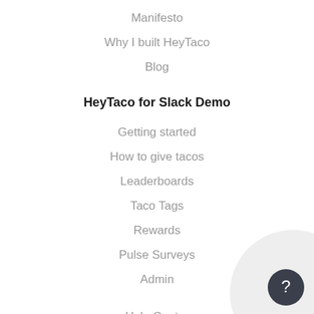Manifesto
Why I built HeyTaco
Blog
HeyTaco for Slack Demo
Getting started
How to give tacos
Leaderboards
Taco Tags
Rewards
Pulse Surveys
Admin
Help Center
Contact Us
API
Media Kit
Shop